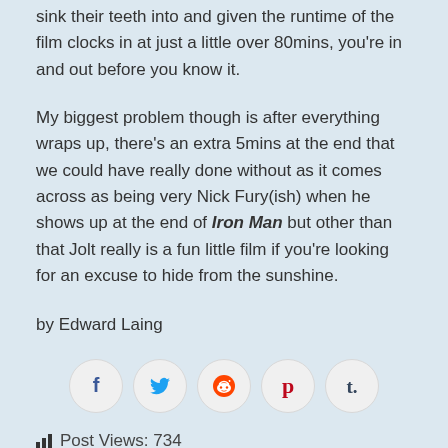sink their teeth into and given the runtime of the film clocks in at just a little over 80mins, you're in and out before you know it.
My biggest problem though is after everything wraps up, there's an extra 5mins at the end that we could have really done without as it comes across as being very Nick Fury(ish) when he shows up at the end of Iron Man but other than that Jolt really is a fun little film if you're looking for an excuse to hide from the sunshine.
by Edward Laing
[Figure (infographic): Social media share buttons: Facebook, Twitter, Reddit, Pinterest, Tumblr — circular icons in a row]
Post Views: 734